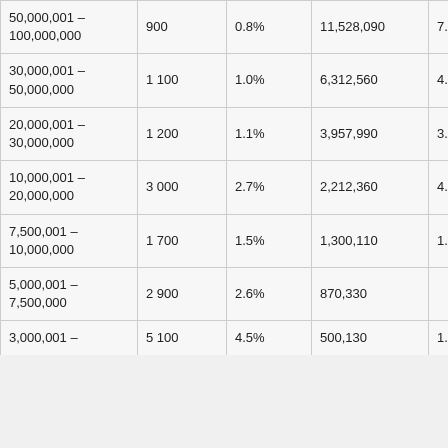| Range | Count | % | Value | % |
| --- | --- | --- | --- | --- |
| 50,000,001 – 100,000,000 | 900 | 0.8% | 11,528,090 | 7.4% |
| 30,000,001 – 50,000,000 | 1 100 | 1.0% | 6,312,560 | 4.8% |
| 20,000,001 – 30,000,000 | 1 200 | 1.1% | 3,957,990 | 3.5% |
| 10,000,001 – 20,000,000 | 3 000 | 2.7% | 2,212,360 | 4.6% |
| 7,500,001 – 10,000,000 | 1 700 | 1.5% | 1,300,110 | 1.6% |
| 5,000,001 – 7,500,000 | 2 900 | 2.6% | 870,330 |  |
| 3,000,001 – | 5 100 | 4.5% | 500,130 | 1.8% |